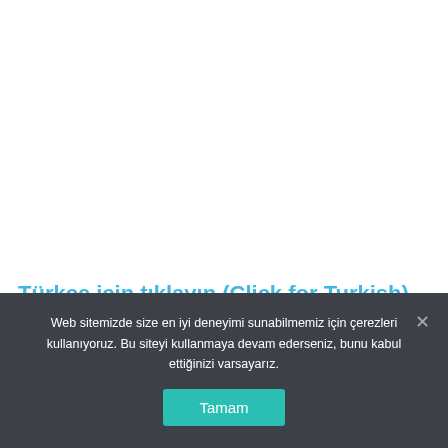Türkçe için tıklayın (Click for Turkish)
Web sitemizde size en iyi deneyimi sunabilmemiz için çerezleri kullanıyoruz. Bu siteyi kullanmaya devam ederseniz, bunu kabul ettiğinizi varsayarız.
Tamam